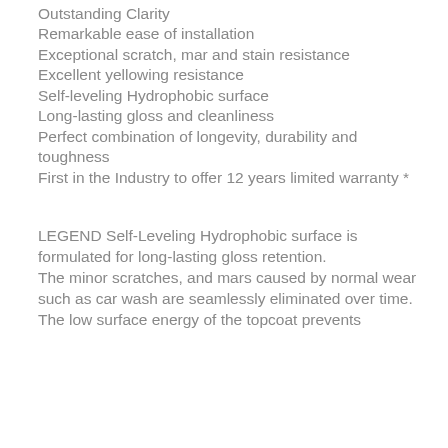Outstanding Clarity
Remarkable ease of installation
Exceptional scratch, mar and stain resistance
Excellent yellowing resistance
Self-leveling Hydrophobic surface
Long-lasting gloss and cleanliness
Perfect combination of longevity, durability and toughness
First in the Industry to offer 12 years limited warranty *
LEGEND Self-Leveling Hydrophobic surface is formulated for long-lasting gloss retention. The minor scratches, and mars caused by normal wear such as car wash are seamlessly eliminated over time. The low surface energy of the topcoat prevents